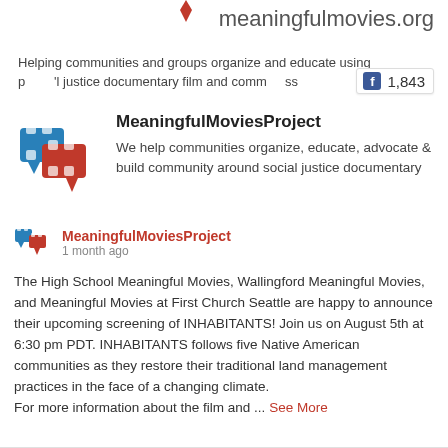meaningfulmovies.org
Helping communities and groups organize and educate using powerful social justice documentary film and community process
MeaningfulMoviesProject
We help communities organize, educate, advocate & build community around social justice documentary
MeaningfulMoviesProject
1 month ago
The High School Meaningful Movies, Wallingford Meaningful Movies, and Meaningful Movies at First Church Seattle are happy to announce their upcoming screening of INHABITANTS! Join us on August 5th at 6:30 pm PDT. INHABITANTS follows five Native American communities as they restore their traditional land management practices in the face of a changing climate.
For more information about the film and ... See More